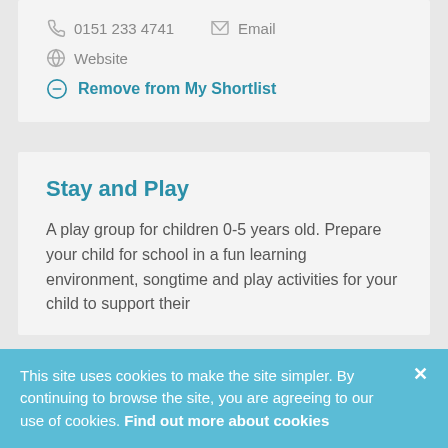0151 233 4741
Email
Website
Remove from My Shortlist
Stay and Play
A play group for children 0-5 years old. Prepare your child for school in a fun learning environment, songtime and play activities for your child to support their
This site uses cookies to make the site simpler. By continuing to browse the site, you are agreeing to our use of cookies. Find out more about cookies